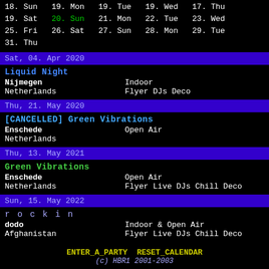18. Sun  19. Mon  19. Tue  19. Wed  17. Thu
19. Sat  20. Sun  21. Mon  22. Tue  23. Wed
25. Fri  26. Sat  27. Sun  28. Mon  29. Tue
31. Thu
Sat, 04. Apr 2020
Liquid Night
Nijmegen   Indoor
Netherlands   Flyer DJs Deco
Thu, 21. May 2020
[CANCELLED] Green Vibrations
Enschede   Open Air
Netherlands
Thu, 13. May 2021
Green Vibrations
Enschede   Open Air
Netherlands   Flyer Live DJs Chill Deco
Sun, 15. May 2022
rockin
dodo   Indoor & Open Air
Afghanistan   Flyer Live DJs Chill Deco
ENTER_A_PARTY  RESET_CALENDAR
(c) HBR1 2001-2003